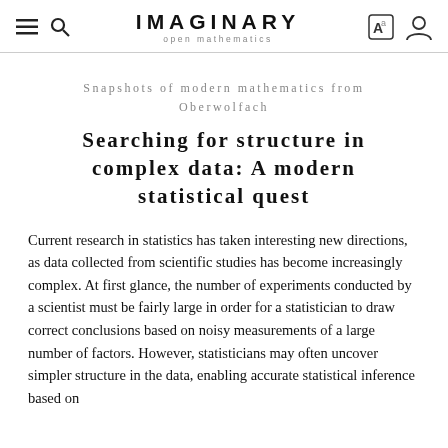IMAGINARY open mathematics
Snapshots of modern mathematics from Oberwolfach
Searching for structure in complex data: A modern statistical quest
Current research in statistics has taken interesting new directions, as data collected from scientific studies has become increasingly complex. At first glance, the number of experiments conducted by a scientist must be fairly large in order for a statistician to draw correct conclusions based on noisy measurements of a large number of factors. However, statisticians may often uncover simpler structure in the data, enabling accurate statistical inference based on